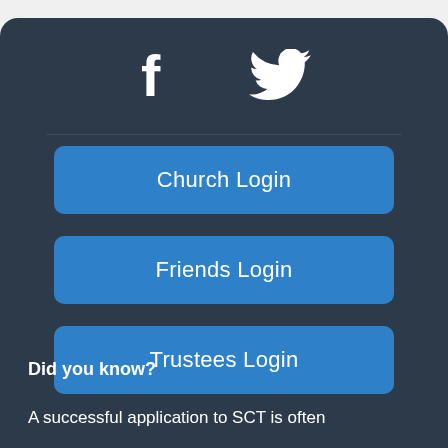[Figure (illustration): Facebook and Twitter social media icons in white on dark background]
Church Login
Friends Login
Trustees Login
Did you know?
A successful application to SCT is often